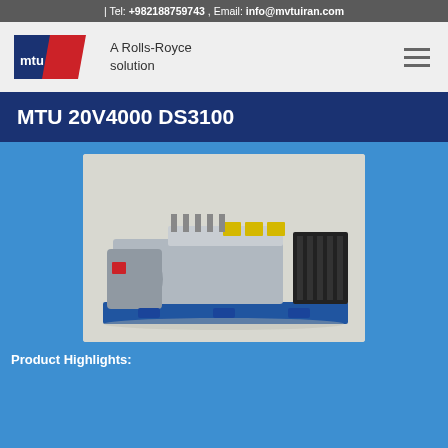| Tel: +982188759743 , Email: info@mvtuiran.com
[Figure (logo): MTU logo with blue parallelogram and red parallelogram and text 'A Rolls-Royce solution']
MTU 20V4000 DS3100
[Figure (photo): MTU 20V4000 DS3100 diesel generator set mounted on blue base frame, showing large engine with multiple cylinders, alternator, and black cooling radiator]
Product Highlights: